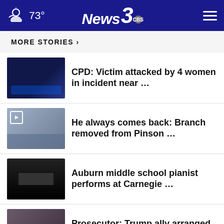73° News 3 CBS
MORE STORIES ›
CPD: Victim attacked by 4 women in incident near …
He always comes back: Branch removed from Pinson …
Auburn middle school pianist performs at Carnegie …
Prosecutor: Trump ally arranged meeting with poll …
Columbus Police warning about mail theft scheme stealing …
More than 100 students detention…